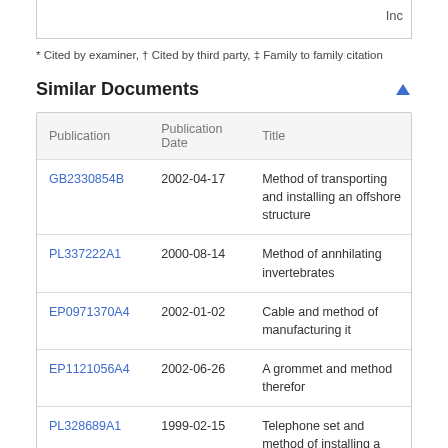* Cited by examiner, † Cited by third party, ‡ Family to family citation
Similar Documents
| Publication | Publication Date | Title |
| --- | --- | --- |
| GB2330854B | 2002-04-17 | Method of transporting and installing an offshore structure |
| PL337222A1 | 2000-08-14 | Method of annhilating invertebrates |
| EP0971370A4 | 2002-01-02 | Cable and method of manufacturing it |
| EP1121056A4 | 2002-06-26 | A grommet and method therefor |
| PL328689A1 | 1999-02-15 | Telephone set and method of installing a telephone |